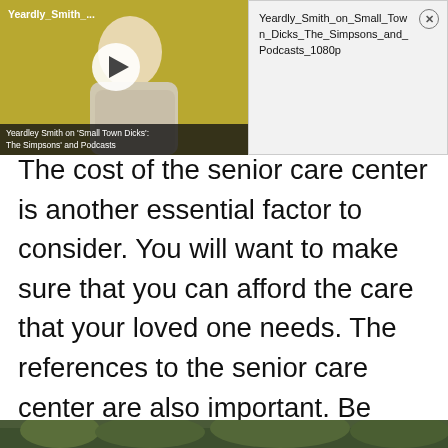[Figure (screenshot): Video thumbnail showing a woman with short blonde hair against a yellow-green background, with a play button overlay and caption bar reading 'Yeardley Smith on Small Town Dicks: The Simpsons' and Podcasts'. Label 'Yeardly_Smith_...' in top left.]
[Figure (screenshot): Video info panel on right side showing filename 'Yeardly_Smith_on_Small_Town_Dicks_The_Simpsons_and_Podcasts_1080p' with a close (X) button in a circle.]
The cost of the senior care center is another essential factor to consider. You will want to make sure that you can afford the care that your loved one needs. The references to the senior care center are also important. Be sure to ask the staff questions about how they operate the care center.
[Figure (photo): Bottom strip of a photo showing outdoor greenery/trees.]